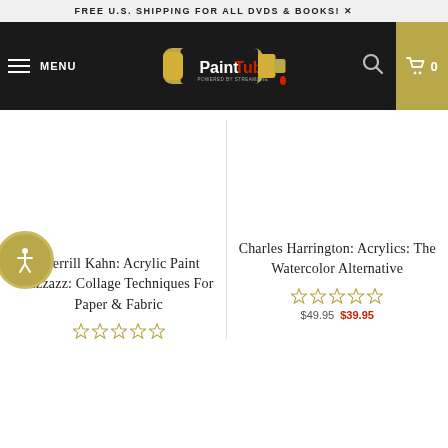FREE U.S. SHIPPING FOR ALL DVDS & BOOKS!
[Figure (logo): PaintTube logo - paint tube graphic with text 'PaintTube' on dark background, 'POWERED BY STREAMLINE' subtitle]
Sherrill Kahn: Acrylic Paint Pizzazz: Collage Techniques For Paper & Fabric
Charles Harrington: Acrylics: The Watercolor Alternative